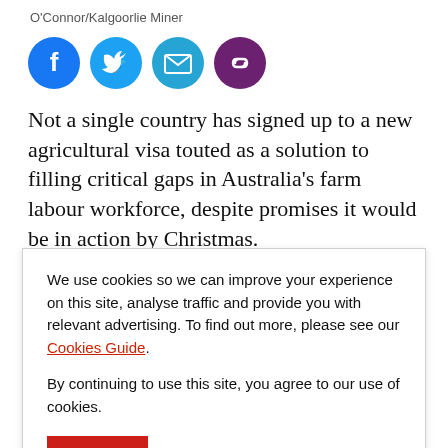O'Connor/Kalgoorlie Miner
[Figure (other): Social media share icons: Facebook (blue circle), Twitter (light blue circle), Email (teal circle), Link (purple circle)]
Not a single country has signed up to a new agricultural visa touted as a solution to filling critical gaps in Australia's farm labour workforce, despite promises it would be in action by Christmas.
We use cookies so we can improve your experience on this site, analyse traffic and provide you with relevant advertising. To find out more, please see our Cookies Guide. By continuing to use this site, you agree to our use of cookies.
Laos, Indonesia, Cambodia and Brunei – to secure